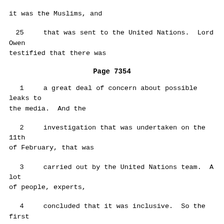it was the Muslims, and
25    that was sent to the United Nations.  Lord Owen testified that there was
Page 7354
1    a great deal of concern about possible leaks to the media.  And the
2    investigation that was undertaken on the 11th of February, that was
3    carried out by the United Nations team.  A lot of people, experts,
4    concluded that it was inclusive.  So the first one ascribed the event to
5    the Muslims, the second was inclusive.  In any